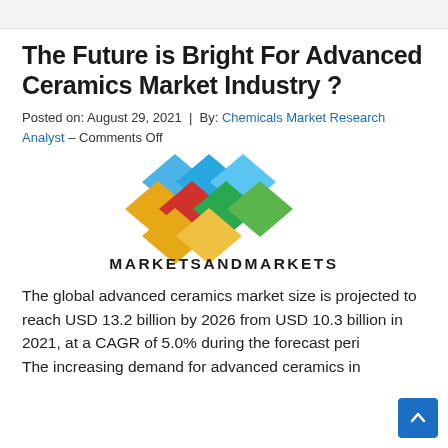The Future is Bright For Advanced Ceramics Market Industry ?
Posted on: August 29, 2021 | By: Chemicals Market Research Analyst – Comments Off
[Figure (logo): MarketsandMarkets logo with colorful diamond shapes above the text MARKETSANDMARKETS]
The global advanced ceramics market size is projected to reach USD 13.2 billion by 2026 from USD 10.3 billion in 2021, at a CAGR of 5.0% during the forecast period. The increasing demand for advanced ceramics in...